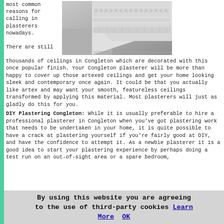most common reasons for calling in plasterers nowadays.
[Figure (photo): Close-up photo of decorative white plaster cornice/ceiling molding in a corner, showing ornate geometric patterns and relief details.]
There are still thousands of ceilings in Congleton which are decorated with this once popular finish. Your Congleton plasterer will be more than happy to cover up those artexed ceilings and get your home looking sleek and contemporary once again. It could be that you actually like artex and may want your smooth, featureless ceilings transformed by applying this material. Most plasterers will just as gladly do this for you.
DIY Plastering Congleton: While it is usually preferable to hire a professional plasterer in Congleton when you've got plastering work that needs to be undertaken in your home, it is quite possible to have a crack at plastering yourself if you're fairly good at DIY, and have the confidence to attempt it. As a newbie plasterer it is a good idea to start your plastering experience by perhaps doing a test run on an out-of-sight area or a spare bedroom,
By using this website you are agreeing to the use of third-party cookies Learn More OK